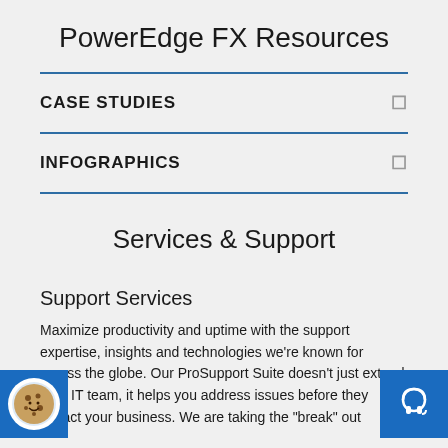PowerEdge FX Resources
CASE STUDIES
INFOGRAPHICS
Services & Support
Support Services
Maximize productivity and uptime with the support expertise, insights and technologies we're known for across the globe. Our ProSupport Suite doesn't just extend your IT team, it helps you address issues before they impact your business. We are taking the "break" out